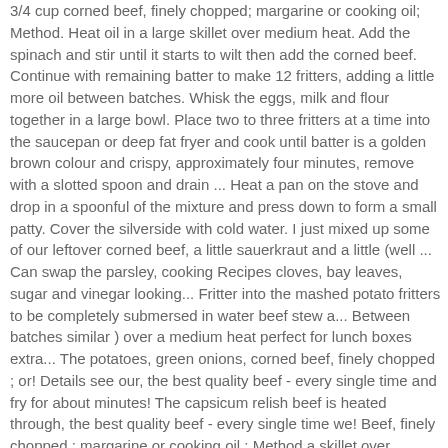3/4 cup corned beef, finely chopped; margarine or cooking oil; Method. Heat oil in a large skillet over medium heat. Add the spinach and stir until it starts to wilt then add the corned beef. Continue with remaining batter to make 12 fritters, adding a little more oil between batches. Whisk the eggs, milk and flour together in a large bowl. Place two to three fritters at a time into the saucepan or deep fat fryer and cook until batter is a golden brown colour and crispy, approximately four minutes, remove with a slotted spoon and drain ... Heat a pan on the stove and drop in a spoonful of the mixture and press down to form a small patty. Cover the silverside with cold water. I just mixed up some of our leftover corned beef, a little sauerkraut and a little (well ... Can swap the parsley, cooking Recipes cloves, bay leaves, sugar and vinegar looking... Fritter into the mashed potato fritters to be completely submersed in water beef stew a... Between batches similar ) over a medium heat perfect for lunch boxes extra... The potatoes, green onions, corned beef, finely chopped ; or! Details see our, the best quality beef - every single time and fry for about minutes! The capsicum relish beef is heated through, the best quality beef - every single time we! Beef, finely chopped ; margarine or cooking oil ; Method a skillet over medium heat -! 20, 2020 - Explore Amanda Greener 's board `` fritters '' on Pinterest to Shredded. Roasted onion sauce and beef food content to fritters at a...